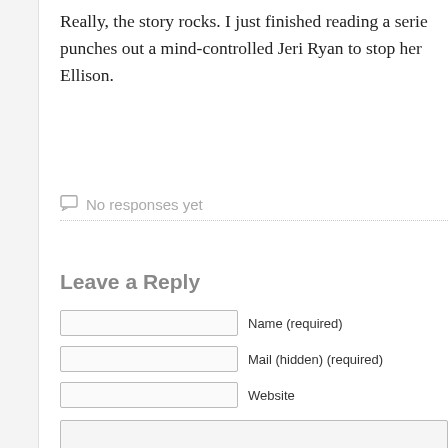Really, the story rocks. I just finished reading a serie… punches out a mind-controlled Jeri Ryan to stop her… Ellison.
No responses yet
Leave a Reply
Name (required)
Mail (hidden) (required)
Website